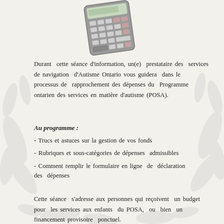[Figure (photo): A calculator photographed at an angle, partially visible at the top of the page]
Durant cette séance d'information, un(e) prestataire des services de navigation d'Autisme Ontario vous guidera dans le processus de rapprochement des dépenses du Programme ontarien des services en matière d'autisme (POSA).
Au programme :
- Trucs et astuces sur la gestion de vos fonds
- Rubriques et sous-catégories de dépenses admissibles
- Comment remplir le formulaire en ligne de déclaration des dépenses
Cette séance s'adresse aux personnes qui reçoivent un budget pour les services aux enfants du POSA, ou bien un financement provisoire ponctuel.